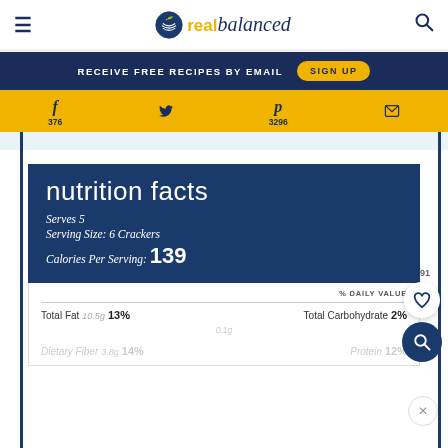real balanced — website header with hamburger menu and search icon
RECEIVE FREE RECIPES BY EMAIL  SIGN UP
Facebook 376  Twitter  Pinterest 3296  Email
nutrition facts
Serves 5
Serving Size: 6 Crackers
Calories Per Serving: 139
| Nutrient | Amount | % Daily Value | Nutrient | % Daily Value |
| --- | --- | --- | --- | --- |
| Total Fat | 10.5g | 13% | Total Carbohydrate | 2% |
| Dietary Fiber | 3.8g | 14% | Protein | 12% |